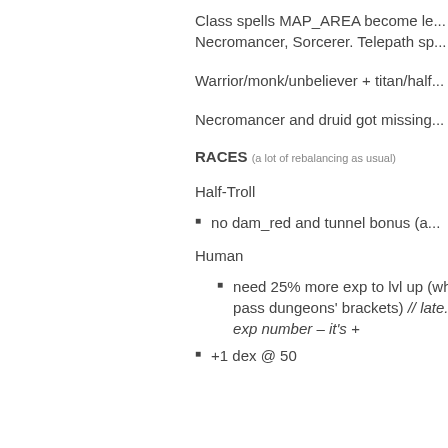Class spells MAP_AREA become le... Necromancer, Sorcerer. Telepath sp...
Warrior/monk/unbeliever + titan/half...
Necromancer and druid got missing...
RACES (a lot of rebalancing as usual)
Half-Troll
no dam_red and tunnel bonus (a...
Human
need 25% more exp to lvl up (wh... pass dungeons' brackets) // late... exp number – it's +
+1 dex @ 50